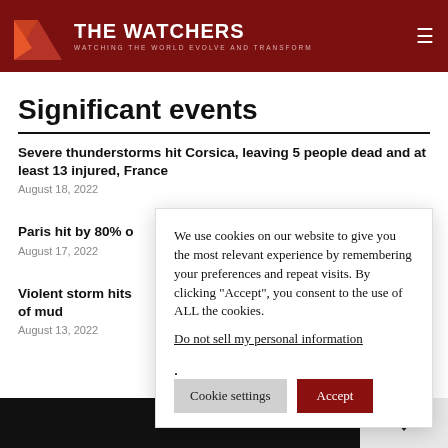THE WATCHERS — WATCHING THE WORLD EVOLVE AND TRANSFORM
Significant events
Severe thunderstorms hit Corsica, leaving 5 people dead and at least 13 injured, France
August 18, 2022
Paris hit by 80% o
August 17, 2022
Violent storm hits
of mud
August 13, 2022
We use cookies on our website to give you the most relevant experience by remembering your preferences and repeat visits. By clicking "Accept", you consent to the use of ALL the cookies.
Do not sell my personal information.
Cookie settings   Accept